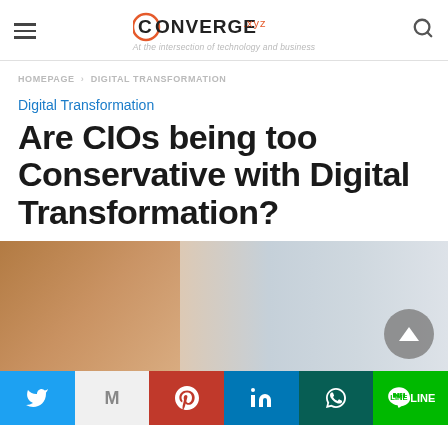CONVERGE.xyz — At the intersection of technology and business
HOMEPAGE > DIGITAL TRANSFORMATION
Digital Transformation
Are CIOs being too Conservative with Digital Transformation?
[Figure (photo): Blurred background photo of an office or meeting room setting with warm tones on the left fading to cool grey tones on the right]
Social share bar: Twitter, Gmail, Pinterest, LinkedIn, WhatsApp, LINE